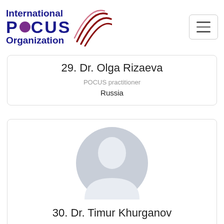[Figure (logo): International POCUS Organization logo with text and radio wave graphic]
29. Dr. Olga Rizaeva
POCUS practitioner
Russia
[Figure (photo): Generic person silhouette placeholder avatar]
30. Dr. Timur Khurganov
POCUS practitioner
Russia